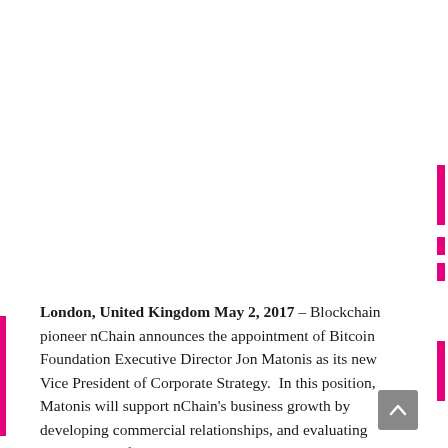London, United Kingdom May 2, 2017 – Blockchain pioneer nChain announces the appointment of Bitcoin Foundation Executive Director Jon Matonis as its new Vice President of Corporate Strategy.  In this position, Matonis will support nChain's business growth by developing commercial relationships, and evaluating opportunities for strategic